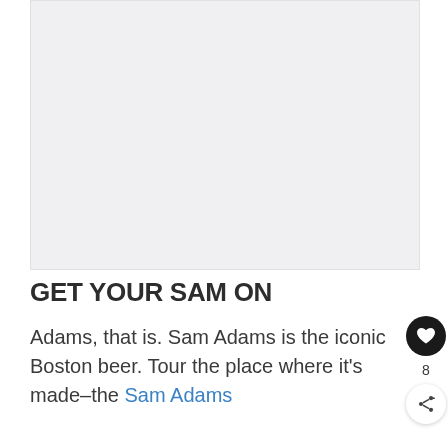[Figure (photo): Placeholder image area, light gray background representing a photo not yet loaded]
GET YOUR SAM ON
Adams, that is. Sam Adams is the iconic Boston beer. Tour the place where it's made–the Sam Adams
[Figure (other): Heart/favorite button (dark circular button with heart icon), share button (light circular button with share icon), and count of 8]